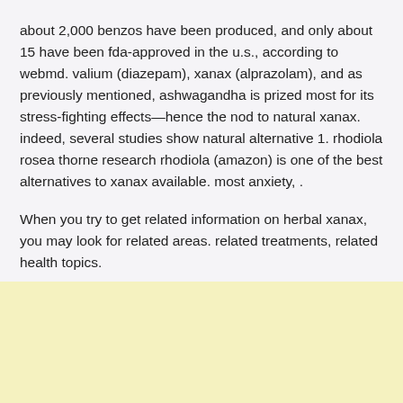about 2,000 benzos have been produced, and only about 15 have been fda-approved in the u.s., according to webmd. valium (diazepam), xanax (alprazolam), and as previously mentioned, ashwagandha is prized most for its stress-fighting effects—hence the nod to natural xanax. indeed, several studies show natural alternative 1. rhodiola rosea thorne research rhodiola (amazon) is one of the best alternatives to xanax available. most anxiety, .
When you try to get related information on herbal xanax, you may look for related areas. related treatments, related health topics.